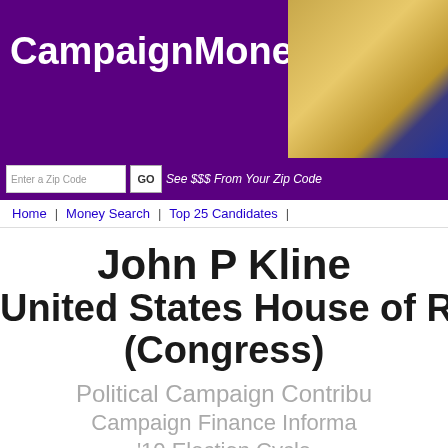CampaignMoney.com
Enter a Zip Code | GO | See $$$ From Your Zip Code
Home | Money Search | Top 25 Candidates |
John P Kline
United States House of Representatives (Congress)
Political Campaign Contributions
Campaign Finance Information
'10 Election Cycle
Election Cycles:
2000 2002 2004 2006 2008 2010 2012 2014 2016 2018